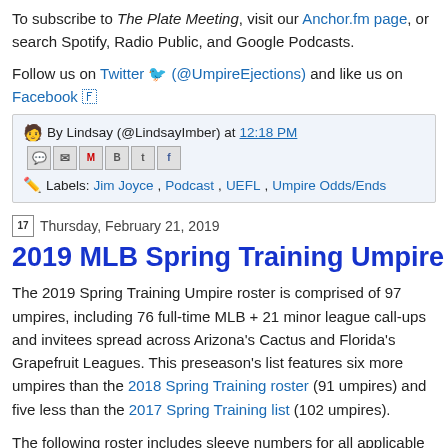To subscribe to The Plate Meeting, visit our Anchor.fm page, or search Spotify, Radio Public, and Google Podcasts.
Follow us on Twitter 🐦 (@UmpireEjections) and like us on Facebook 🇫
By Lindsay (@LindsayImber) at 12:18 PM  Labels: Jim Joyce , Podcast , UEFL , Umpire Odds/Ends
Thursday, February 21, 2019
2019 MLB Spring Training Umpire Ros...
The 2019 Spring Training Umpire roster is comprised of 97 umpires, including 76 full-time MLB + 21 minor league call-ups and invitees spread across Arizona's Cactus and Florida's Grapefruit Leagues. This preseason's list features six more umpires than the 2018 Spring Training roster (91 umpires) and five less than the 2017 Spring Training list (102 umpires).
The following roster includes sleeve numbers for all applicable umpires; Minor League Baseball umpires with numbers are deemed Call-Ups and may fill in during the regular season at the